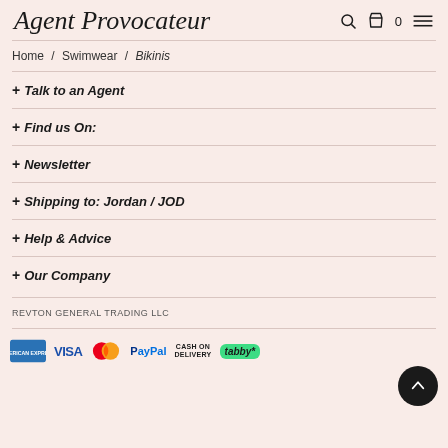Agent Provocateur
Home / Swimwear / Bikinis
+ Talk to an Agent
+ Find us On:
+ Newsletter
+ Shipping to: Jordan / JOD
+ Help & Advice
+ Our Company
REVTON GENERAL TRADING LLC
[Figure (logo): Payment method logos: American Express, VISA, Mastercard, PayPal, Cash on Delivery, Tabby]